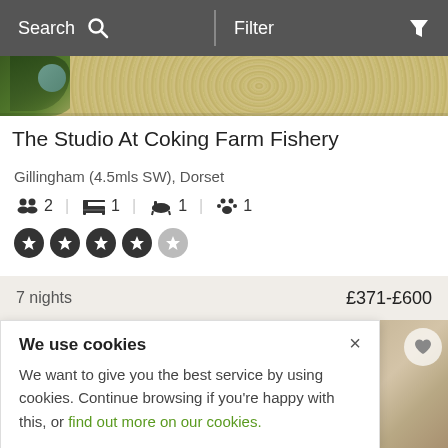Search  Filter
[Figure (photo): Partial view of garden/gravel area with green plants on left side, sandy/pebble textured ground]
The Studio At Coking Farm Fishery
Gillingham (4.5mls SW), Dorset
2 guests | 1 bedroom | 1 bathroom | 1 pet
4 out of 5 stars rating
7 nights  £371-£600
We use cookies
We want to give you the best service by using cookies. Continue browsing if you're happy with this, or find out more on our cookies.
[Figure (photo): Right side partial view of accommodation interior/exterior, beige/cream tones with heart favorite button]